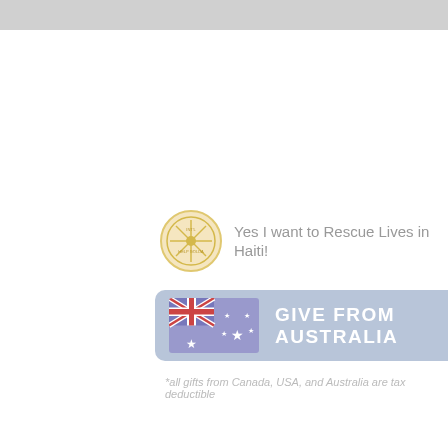Yes I want to Rescue Lives in Haiti!
[Figure (illustration): Australian flag button with text GIVE FROM AUSTRALIA on a light blue-grey rounded rectangle background]
*all gifts from Canada, USA, and Australia are tax deductible